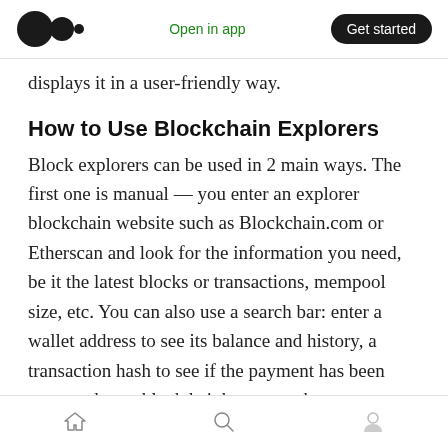Open in app | Get started
displays it in a user-friendly way.
How to Use Blockchain Explorers
Block explorers can be used in 2 main ways. The first one is manual — you enter an explorer blockchain website such as Blockchain.com or Etherscan and look for the information you need, be it the latest blocks or transactions, mempool size, etc. You can also use a search bar: enter a wallet address to see its balance and history, a transaction hash to see if the payment has been approved, or a block height to see what
Home | Search | Profile